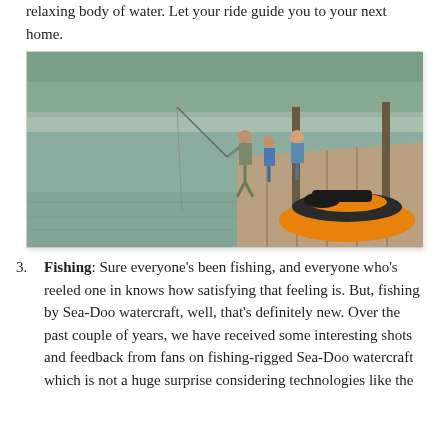relaxing body of water. Let your ride guide you to your next home.
[Figure (photo): People sitting on a dock fishing next to an orange and black Sea-Doo personal watercraft on a calm lake.]
Fishing: Sure everyone's been fishing, and everyone who's reeled one in knows how satisfying that feeling is. But, fishing by Sea-Doo watercraft, well, that's definitely new. Over the past couple of years, we have received some interesting shots and feedback from fans on fishing-rigged Sea-Doo watercraft which is not a huge surprise considering technologies like the